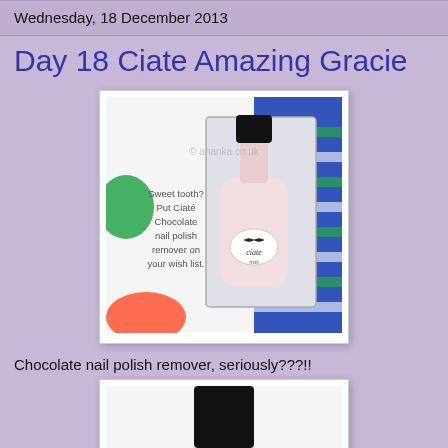Wednesday, 18 December 2013
Day 18 Ciate Amazing Gracie
[Figure (photo): A Ciate mini nail polish bottle in pale pink with black cap, sitting in its gift box packaging. The box text reads: 'Sweet tooth? Put Ciaté Chocolate nail polish remover on your wish list.' Background shows colorful knitted-pattern gift wrap. Watermark reads '© ananka.co.uk']
Chocolate nail polish remover, seriously???!!
[Figure (photo): Partial image of a second Ciate nail polish bottle with black cap on white background, cropped at bottom of page.]